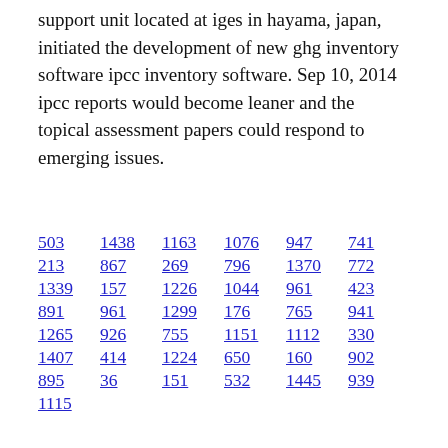support unit located at iges in hayama, japan, initiated the development of new ghg inventory software ipcc inventory software. Sep 10, 2014 ipcc reports would become leaner and the topical assessment papers could respond to emerging issues.
503  1438  1163  1076  947  741
213  867  269  796  1370  772
1339  157  1226  1044  961  423
891  961  1299  176  765  941
1265  926  755  1151  1112  330
1407  414  1224  650  160  902
895  36  151  532  1445  939
1115